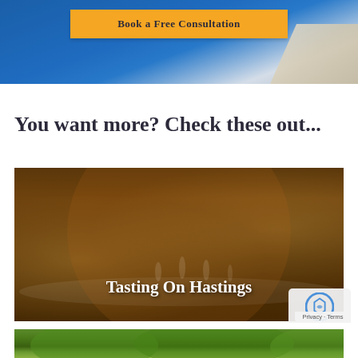[Figure (photo): Top portion of a webpage showing a yellow/gold button labeled 'Book a Free Consultation' over a blue brick wall background with a white tent visible at the right edge]
You want more? Check these out...
[Figure (photo): Photo of a group of people dining at a long restaurant table, raising wine glasses in a toast, overlaid with white bold text 'Tasting On Hastings']
[Figure (photo): Partial bottom photo showing green outdoor scenery, cropped at bottom of page]